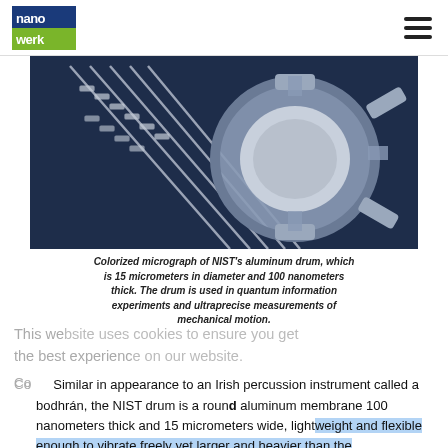nanowerk [logo] [hamburger menu]
[Figure (photo): Colorized electron micrograph of NIST aluminum drum nanomechanical resonator on a dark blue substrate, showing parallel beam structures leading to a circular drumhead membrane with surrounding electrode pads.]
Colorized micrograph of NIST's aluminum drum, which is 15 micrometers in diameter and 100 nanometers thick. The drum is used in quantum information experiments and ultraprecise measurements of mechanical motion.
This website uses cookies to ensure you get the best experience on our website.
Similar in appearance to an Irish percussion instrument called a bodhrán, the NIST drum is a round aluminum membrane 100 nanometers thick and 15 micrometers wide, lightweight and flexible enough to vibrate freely yet larger and heavier than the